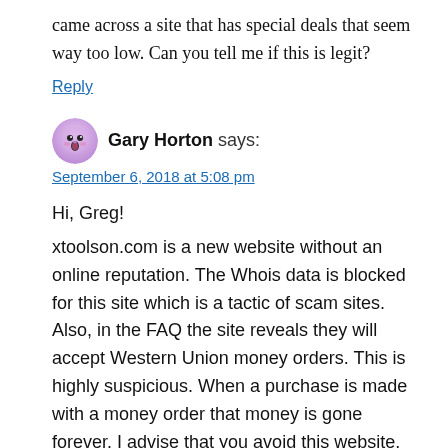came across a site that has special deals that seem way too low. Can you tell me if this is legit?
Reply
Gary Horton says:
September 6, 2018 at 5:08 pm
Hi, Greg!
xtoolson.com is a new website without an online reputation. The Whois data is blocked for this site which is a tactic of scam sites. Also, in the FAQ the site reveals they will accept Western Union money orders. This is highly suspicious. When a purchase is made with a money order that money is gone forever. I advise that you avoid this website.